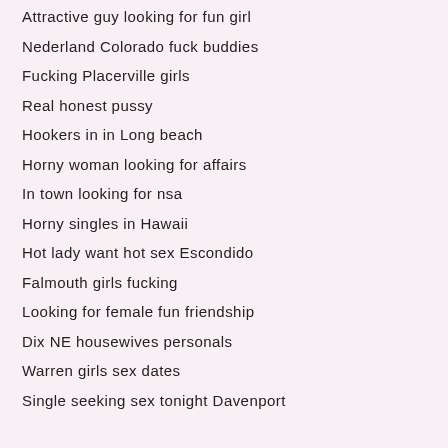Attractive guy looking for fun girl
Nederland Colorado fuck buddies
Fucking Placerville girls
Real honest pussy
Hookers in in Long beach
Horny woman looking for affairs
In town looking for nsa
Horny singles in Hawaii
Hot lady want hot sex Escondido
Falmouth girls fucking
Looking for female fun friendship
Dix NE housewives personals
Warren girls sex dates
Single seeking sex tonight Davenport